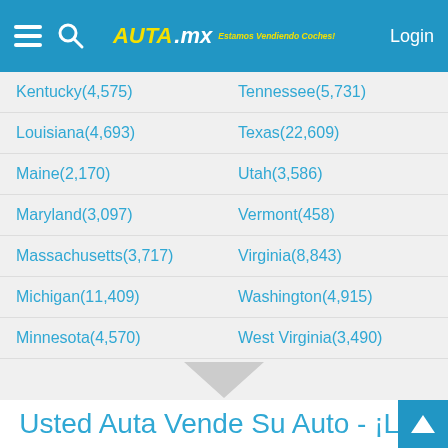AUTA.mx Estamos Vendiendo Coches! Login
Kentucky(4,575)
Tennessee(5,731)
Louisiana(4,693)
Texas(22,609)
Maine(2,170)
Utah(3,586)
Maryland(3,097)
Vermont(458)
Massachusetts(3,717)
Virginia(8,843)
Michigan(11,409)
Washington(4,915)
Minnesota(4,570)
West Virginia(3,490)
Mississippi(2,904)
Wisconsin(7,437)
Missouri(6,039)
Wyoming(1,119)
Montana(1,653)
Usted Auta Vende Su Auto - ¡Los